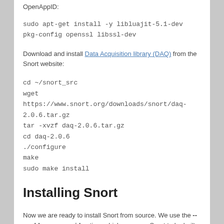OpenAppID:
sudo apt-get install -y libluajit-5.1-dev pkg-config openssl libssl-dev
Download and install Data Acquisition library (DAQ) from the Snort website:
cd ~/snort_src
wget https://www.snort.org/downloads/snort/daq-2.0.6.tar.gz
tar -xvzf daq-2.0.6.tar.gz
cd daq-2.0.6
./configure
make
sudo make install
Installing Snort
Now we are ready to install Snort from source. We use the --enable-open-appid option, which prepares Snort to be built with OpenAppID support. We also use the --enable-sourcefire option, which enables the Sourcefire-specific build options: